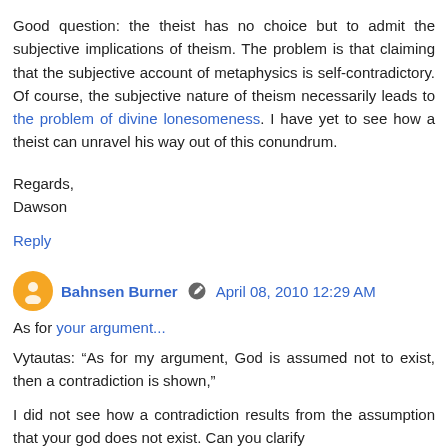Good question: the theist has no choice but to admit the subjective implications of theism. The problem is that claiming that the subjective account of metaphysics is self-contradictory. Of course, the subjective nature of theism necessarily leads to the problem of divine lonesomeness. I have yet to see how a theist can unravel his way out of this conundrum.
Regards,
Dawson
Reply
Bahnsen Burner [edit icon] April 08, 2010 12:29 AM
As for your argument...
Vytautas: “As for my argument, God is assumed not to exist, then a contradiction is shown,”
I did not see how a contradiction results from the assumption that your god does not exist. Can you clarify